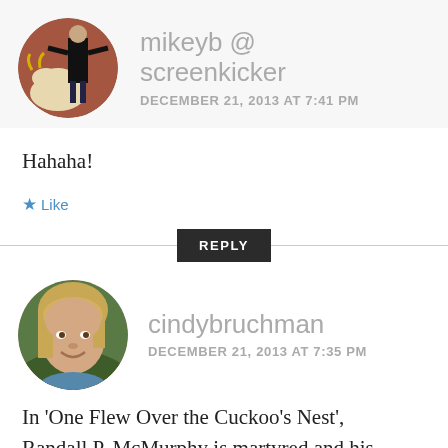[Figure (photo): Circular avatar of mikeyb @screenkicker showing a person posing with a decorative bull/cow sculpture]
mikeyb @
screenkicker
DECEMBER 21, 2013 AT 7:41 PM
Hahaha!
Like
REPLY
[Figure (photo): Circular avatar of cindybruchman showing a middle-aged woman with short blonde hair smiling]
cindybruchman
DECEMBER 21, 2013 AT 7:35 PM
In 'One Flew Over the Cuckoo's Nest', Randall P. McMurphy is martyred and his twelve